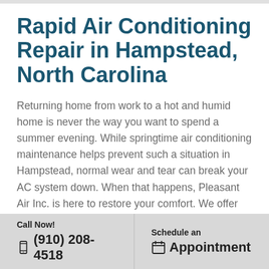Rapid Air Conditioning Repair in Hampstead, North Carolina
Returning home from work to a hot and humid home is never the way you want to spend a summer evening. While springtime air conditioning maintenance helps prevent such a situation in Hampstead, normal wear and tear can break your AC system down. When that happens, Pleasant Air Inc. is here to restore your comfort. We offer 24/7/365 emergency AC repair
Call Now! (910) 208-4518   Schedule an Appointment